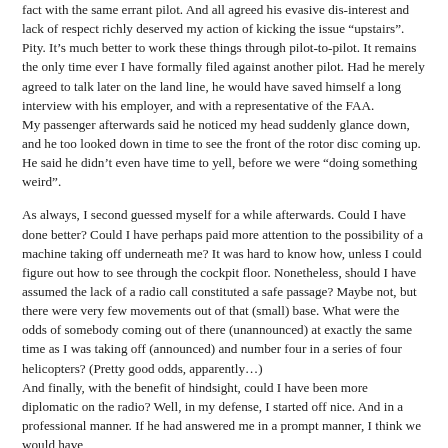fact with the same errant pilot. And all agreed his evasive dis-interest and lack of respect richly deserved my action of kicking the issue “upstairs”. Pity. It’s much better to work these things through pilot-to-pilot. It remains the only time ever I have formally filed against another pilot. Had he merely agreed to talk later on the land line, he would have saved himself a long interview with his employer, and with a representative of the FAA. My passenger afterwards said he noticed my head suddenly glance down, and he too looked down in time to see the front of the rotor disc coming up. He said he didn’t even have time to yell, before we were “doing something weird”.
As always, I second guessed myself for a while afterwards. Could I have done better? Could I have perhaps paid more attention to the possibility of a machine taking off underneath me? It was hard to know how, unless I could figure out how to see through the cockpit floor. Nonetheless, should I have assumed the lack of a radio call constituted a safe passage? Maybe not, but there were very few movements out of that (small) base. What were the odds of somebody coming out of there (unannounced) at exactly the same time as I was taking off (announced) and number four in a series of four helicopters? (Pretty good odds, apparently…) And finally, with the benefit of hindsight, could I have been more diplomatic on the radio? Well, in my defense, I started off nice. And in a professional manner. If he had answered me in a prompt manner, I think we would have